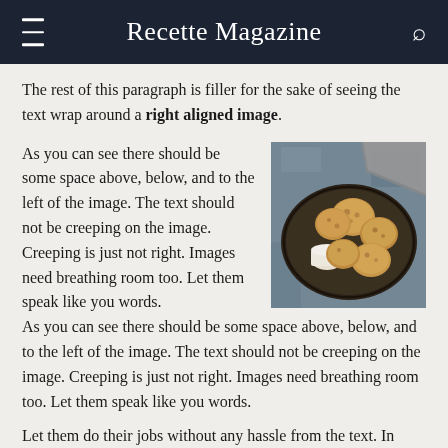Recette Magazine
The rest of this paragraph is filler for the sake of seeing the text wrap around a right aligned image.
As you can see there should be some space above, below, and to the left of the image. The text should not be creeping on the image. Creeping is just not right. Images need breathing room too. Let them speak like you words.
As you can see there should be some space above, below, and to the left of the image. The text should not be creeping on the image. Creeping is just not right. Images need breathing room too. Let them speak like you words.
[Figure (photo): Overhead photo of cookies on a dark metal plate with a small white dipping cup, on a blue-grey textured surface with a grey cloth napkin.]
Let them do their jobs without any hassle from the text. In about one more sentence here, we'll see that the text moves